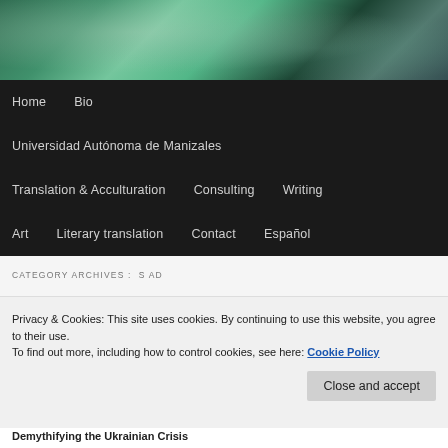[Figure (photo): Succulent plants header image with green and teal tones]
Home  Bio  Universidad Autónoma de Manizales  Translation & Acculturation  Consulting  Writing  Art  Literary translation  Contact  Español
CATEGORY ARCHIVES :  S AD
← Older posts    Newer posts →
Privacy & Cookies: This site uses cookies. By continuing to use this website, you agree to their use.
To find out more, including how to control cookies, see here: Cookie Policy
Close and accept
Demythifying the Ukrainian Crisis